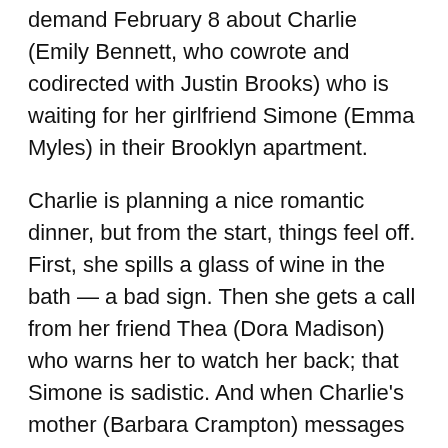Alone with You" is an ambitious thriller available on demand February 8 about Charlie (Emily Bennett, who cowrote and codirected with Justin Brooks) who is waiting for her girlfriend Simone (Emma Myles) in their Brooklyn apartment.
Charlie is planning a nice romantic dinner, but from the start, things feel off. First, she spills a glass of wine in the bath — a bad sign. Then she gets a call from her friend Thea (Dora Madison) who warns her to watch her back; that Simone is sadistic. And when Charlie's mother (Barbara Crampton) messages her urgently for a video call, not only does Charlie learn her grandmother has passed, but that her attendance is not required at the funeral. Charlie's devout mother expresses disapproval about her daughter's sexuality, even